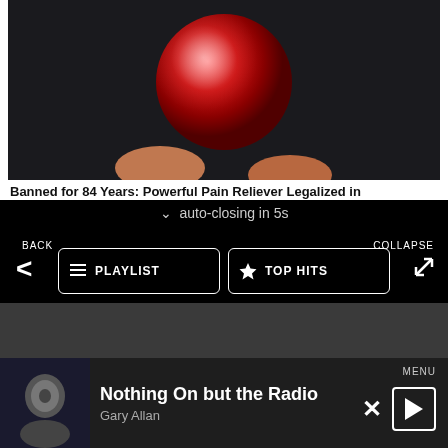[Figure (screenshot): Photo of red sugary candy/gumball held between fingers against dark background]
Banned for 84 Years: Powerful Pain Reliever Legalized in
auto-closing in 5s
BACK
PLAYLIST
TOP HITS
LISTEN LIVE
MY VOTES
CONTROLS
COLLAPSE
Data opt-out
Nothing On but the Radio
Gary Allan
MENU